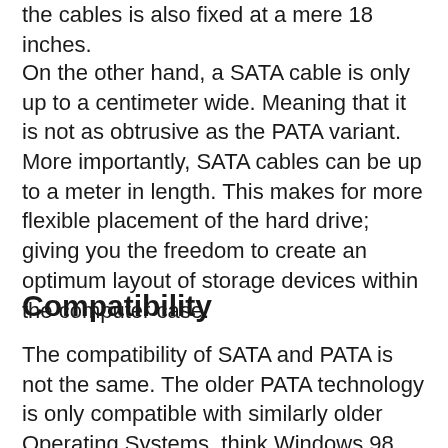the cables is also fixed at a mere 18 inches.
On the other hand, a SATA cable is only up to a centimeter wide. Meaning that it is not as obtrusive as the PATA variant. More importantly, SATA cables can be up to a meter in length. This makes for more flexible placement of the hard drive; giving you the freedom to create an optimum layout of storage devices within the computer case.
Compatibility
The compatibility of SATA and PATA is not the same. The older PATA technology is only compatible with similarly older Operating Systems, think Windows 98 and 95. This